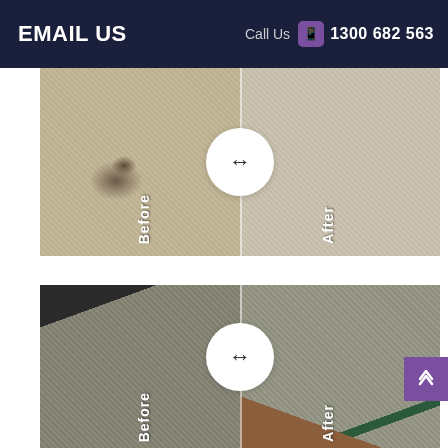EMAIL US   Call Us  1300 682 563
[Figure (photo): Before and after carpet cleaning comparison image 1, showing stained carpet on the left (Before) and clean carpet on the right (After) with a circular arrow icon in the center]
[Figure (photo): Before and after carpet cleaning comparison image 2, showing dirty carpet with dark furniture on the left (Before) and clean carpet with wooden furniture on the right (After) with a circular arrow icon in the center and a purple back-to-top button]